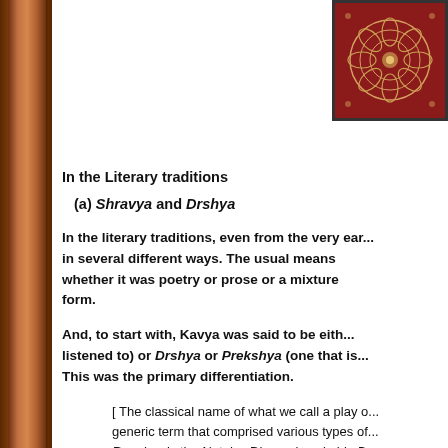[Figure (photo): Red decorative mandala book cover image in top right corner]
In the Literary traditions
(a) Shravya and Drshya
In the literary traditions, even from the very early times, Kavya was classified in several different ways. The usual means of classification was its form, whether it was poetry or prose or a mixture of the two, and whether it was oral or written form.
And, to start with, Kavya was said to be either Shravya (one that is to be listened to) or Drshya or Prekshya (one that is to be seen, a visual experience). This was the primary differentiation.
[ The classical name of what we call a play or drama was Rupaka, a generic term that comprised various types of dramatic forms. The best of Rupakas is the Nataka. Dhananjaya in his Dasarupaka, while talking about Rupaka explains : it is called Rupaka because of the acts put on by the actors (abhi